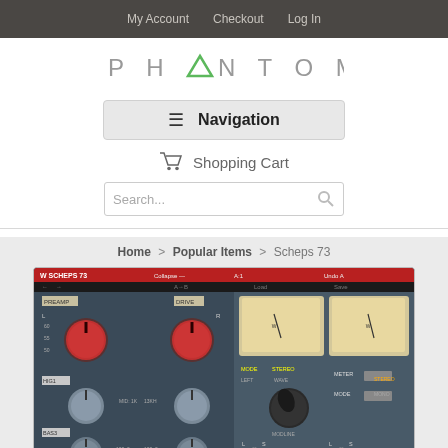My Account  Checkout  Log In
[Figure (logo): Phantom48 logo with triangle A replacing the letter A]
Navigation
Shopping Cart
Search...
Home > Popular Items > Scheps 73
[Figure (screenshot): Scheps 73 audio plugin interface showing knobs, VU meters, faders and controls on a blue-grey background]